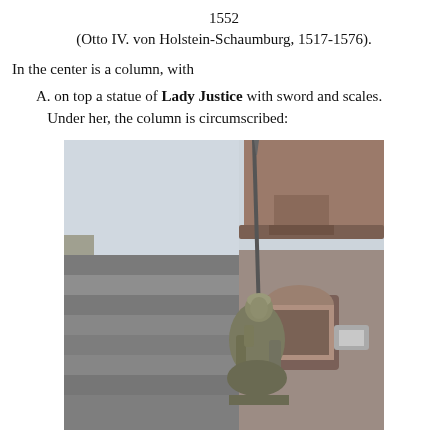1552
(Otto IV. von Holstein-Schaumburg, 1517-1576).
In the center is a column, with
A. on top a statue of Lady Justice with sword and scales. Under her, the column is circumscribed:
[Figure (photo): Photograph of a Lady Justice statue atop a column, holding a sword upright, with a historic building facade in the background. The statue is stone, weathered greenish-grey, with rooftops and an arched window visible behind it.]